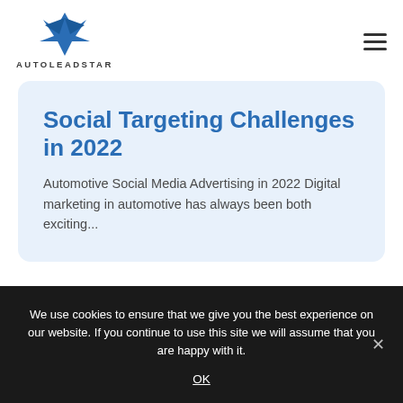AutoLeadStar
Social Targeting Challenges in 2022
Automotive Social Media Advertising in 2022 Digital marketing in automotive has always been both exciting...
We use cookies to ensure that we give you the best experience on our website. If you continue to use this site we will assume that you are happy with it.
OK